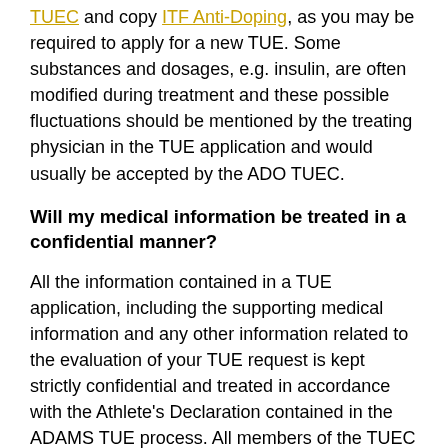TUEC and copy ITF Anti-Doping, as you may be required to apply for a new TUE. Some substances and dosages, e.g. insulin, are often modified during treatment and these possible fluctuations should be mentioned by the treating physician in the TUE application and would usually be accepted by the ADO TUEC.
Will my medical information be treated in a confidential manner?
All the information contained in a TUE application, including the supporting medical information and any other information related to the evaluation of your TUE request is kept strictly confidential and treated in accordance with the Athlete's Declaration contained in the ADAMS TUE process. All members of the TUEC and any other authorized recipients of your TUE request and related information (as described in the Athlete's Declaration) are subject to a